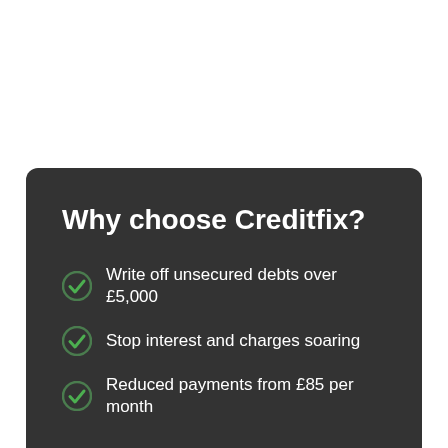Why choose Creditfix?
Write off unsecured debts over £5,000
Stop interest and charges soaring
Reduced payments from £85 per month
Trustpilot